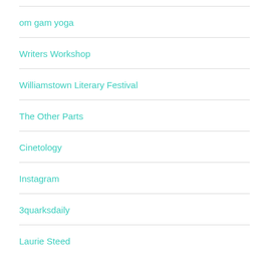om gam yoga
Writers Workshop
Williamstown Literary Festival
The Other Parts
Cinetology
Instagram
3quarksdaily
Laurie Steed